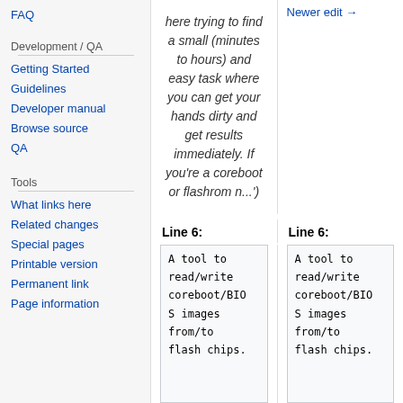FAQ
Development / QA
Getting Started
Guidelines
Developer manual
Browse source
QA
Tools
What links here
Related changes
Special pages
Printable version
Permanent link
Page information
here trying to find a small (minutes to hours) and easy task where you can get your hands dirty and get results immediately. If you're a coreboot or flashrom n...')
Newer edit →
Line 6:
Line 6:
A tool to read/write coreboot/BIOS images from/to flash chips.
A tool to read/write coreboot/BIOS images from/to flash chips.